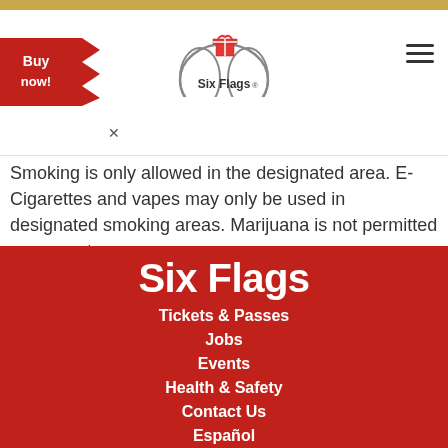[Figure (logo): Six Flags logo with roller coaster arch and gift box icon]
[Figure (logo): Buy now! ticket button in red]
Smoking is only allowed in the designated area. E-Cigarettes and vapes may only be used in designated smoking areas. Marijuana is not permitted on property.
Six Flags
Tickets & Passes
Jobs
Events
Health & Safety
Contact Us
Español